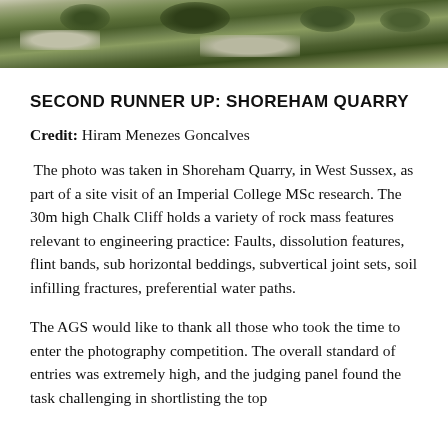[Figure (photo): Photograph of a chalk quarry with green vegetation and rocky cliff face visible at the top of the image]
SECOND RUNNER UP: SHOREHAM QUARRY
Credit: Hiram Menezes Goncalves
The photo was taken in Shoreham Quarry, in West Sussex, as part of a site visit of an Imperial College MSc research. The 30m high Chalk Cliff holds a variety of rock mass features relevant to engineering practice: Faults, dissolution features, flint bands, sub horizontal beddings, subvertical joint sets, soil infilling fractures, preferential water paths.
The AGS would like to thank all those who took the time to enter the photography competition. The overall standard of entries was extremely high, and the judging panel found the task challenging in shortlisting the top three entries.